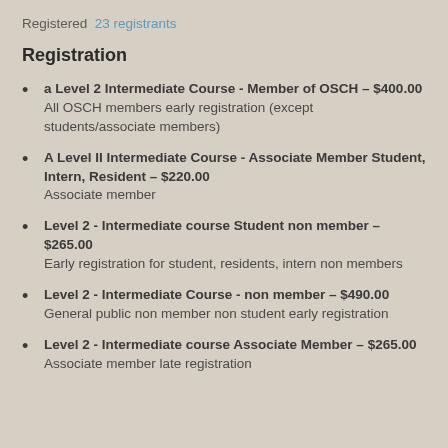Registered  23 registrants
Registration
a Level 2 Intermediate Course - Member of OSCH – $400.00
All OSCH members early registration (except students/associate members)
A Level II Intermediate Course - Associate Member Student, Intern, Resident – $220.00
Associate member
Level 2 - Intermediate course Student non member – $265.00
Early registration for student, residents, intern non members
Level 2 - Intermediate Course - non member – $490.00
General public non member non student early registration
Level 2 - Intermediate course Associate Member – $265.00
Associate member late registration